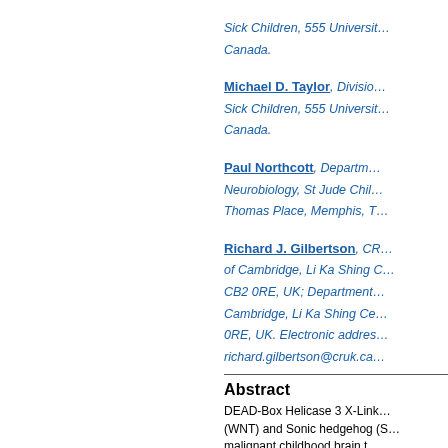Sick Children, 555 Universit… Canada.
Michael D. Taylor, Division… Sick Children, 555 Universit… Canada.
Paul Northcott, Departm… Neurobiology, St Jude Chil… Thomas Place, Memphis, T…
Richard J. Gilbertson, CR… of Cambridge, Li Ka Shing C… CB2 0RE, UK; Department… Cambridge, Li Ka Shing Ce… 0RE, UK. Electronic addres… richard.gilbertson@cruk.ca…
Abstract
DEAD-Box Helicase 3 X-Link… (WNT) and Sonic hedgehog (S… malignant childhood brain t… medulloblastoma oncogene… show that Ddx3x regulates h… Hox gene expression and cell… medulloblastoma, Ddx3x se… formation. WNT and SHH m… upper rhombic lips, respectiv…